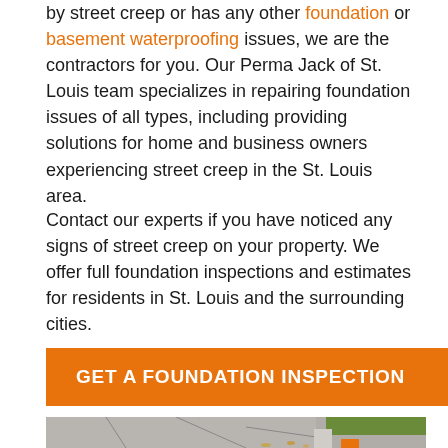by street creep or has any other foundation or basement waterproofing issues, we are the contractors for you. Our Perma Jack of St. Louis team specializes in repairing foundation issues of all types, including providing solutions for home and business owners experiencing street creep in the St. Louis area.
Contact our experts if you have noticed any signs of street creep on your property. We offer full foundation inspections and estimates for residents in St. Louis and the surrounding cities.
GET A FOUNDATION INSPECTION
[Figure (photo): Outdoor photo showing a cracked concrete driveway or sidewalk with green grass on the right side and fallen leaves, illustrating street creep damage.]